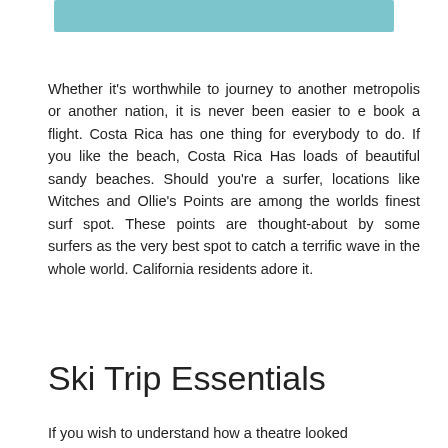[Figure (other): Teal/light blue horizontal bar at the top of the page]
Whether it's worthwhile to journey to another metropolis or another nation, it is never been easier to e book a flight. Costa Rica has one thing for everybody to do. If you like the beach, Costa Rica Has loads of beautiful sandy beaches. Should you're a surfer, locations like Witches and Ollie's Points are among the worlds finest surf spot. These points are thought-about by some surfers as the very best spot to catch a terrific wave in the whole world. California residents adore it.
Ski Trip Essentials
If you wish to understand how a theatre looked